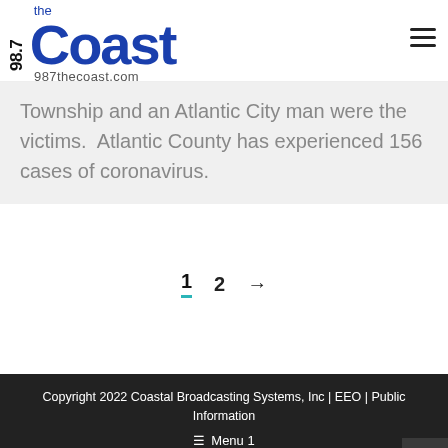98.7 the Coast 987thecoast.com
Township and an Atlantic City man were the victims.  Atlantic County has experienced 156 cases of coronavirus.
1  2  →
Copyright 2022 Coastal Broadcasting Systems, Inc | EEO | Public Information  ☰ Menu 1